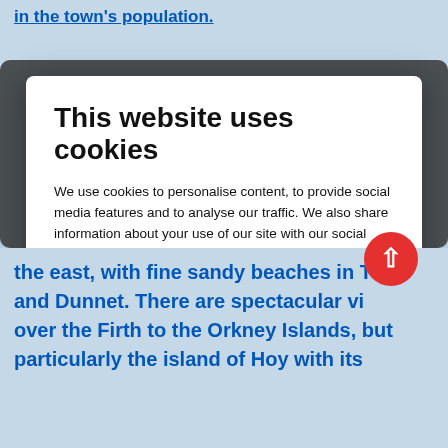in the town's population.
This website uses cookies
We use cookies to personalise content, to provide social media features and to analyse our traffic. We also share information about your use of our site with our social media and analytics partners who may combine it with other information that you've provided to them or that they've collected from your use of their services. You consent to our cookies if you continue to use our website.
Allow selection | Allow all cookies
Necessary  Preferences  Statistics  Marketing  Show details
the east, with fine sandy beaches in Thu and Dunnet. There are spectacular vi over the Firth to the Orkney Islands, but particularly the island of Hoy with its